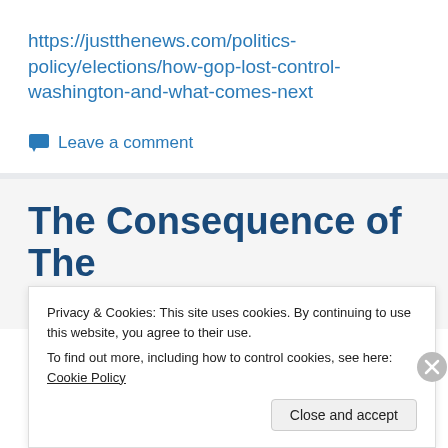https://justthenews.com/politics-policy/elections/how-gop-lost-control-washington-and-what-comes-next
Leave a comment
The Consequence of The 2020 Elections...
Privacy & Cookies: This site uses cookies. By continuing to use this website, you agree to their use.
To find out more, including how to control cookies, see here: Cookie Policy